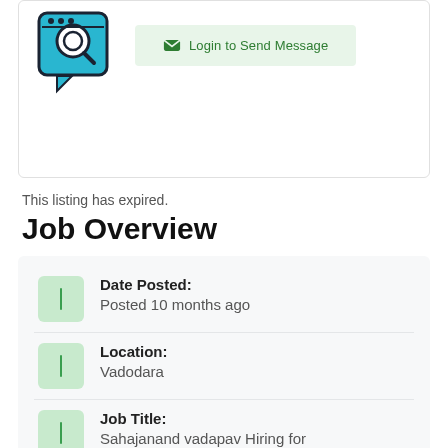[Figure (logo): Blue and black job search logo icon with magnifying glass and speech bubble]
Login to Send Message
This listing has expired.
Job Overview
Date Posted: Posted 10 months ago
Location: Vadodara
Job Title: Sahajanand vadapav Hiring for